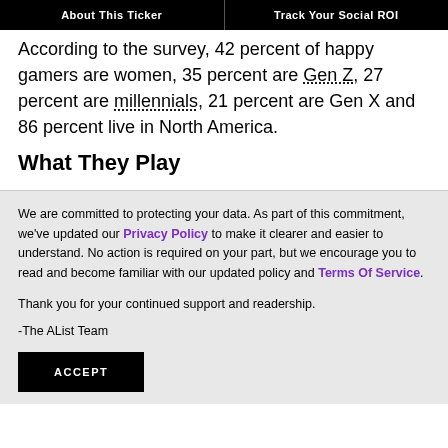About This Ticker | Track Your Social ROI
According to the survey, 42 percent ofappy gamers are women, 35 percent are Gen Z, 27 percent are millennials, 21 percent are Gen X and 86 percent live in North America.
What They Play
We are committed to protecting your data. As part of this commitment, we've updated our Privacy Policy to make it clearer and easier to understand. No action is required on your part, but we encourage you to read and become familiar with our updated policy and Terms Of Service.
Thank you for your continued support and readership.
-The AList Team